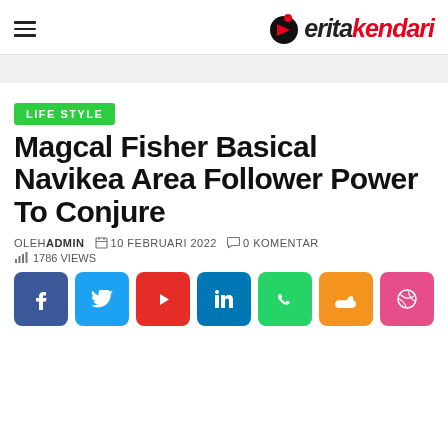BeritaKendari — logo header with hamburger menu
LIFE STYLE
Magcal Fisher Basical Navikea Area Follower Power To Conjure
OLEH ADMIN   10 FEBRUARI 2022   0 KOMENTAR   1786 VIEWS
[Figure (infographic): Social media share buttons: Facebook, Twitter, YouTube, LinkedIn, WhatsApp, SoundCloud, Dribbble]